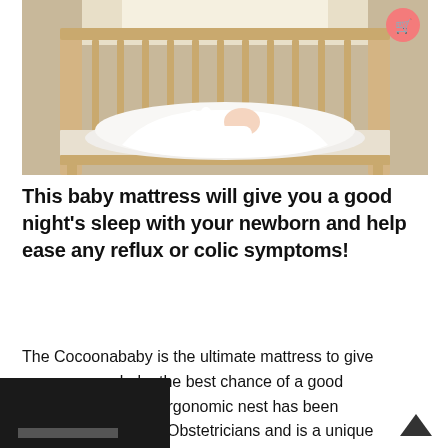[Figure (photo): A baby lying in a white ergonomic Cocoonababy nest mattress inside a light wood crib, photographed from the side in a bright room.]
This baby mattress will give you a good night's sleep with your newborn and help ease any reflux or colic symptoms!
The Cocoonababy is the ultimate mattress to give baby the best chance of a good This ergonomic nest has been designed by French Obstetricians and is a unique